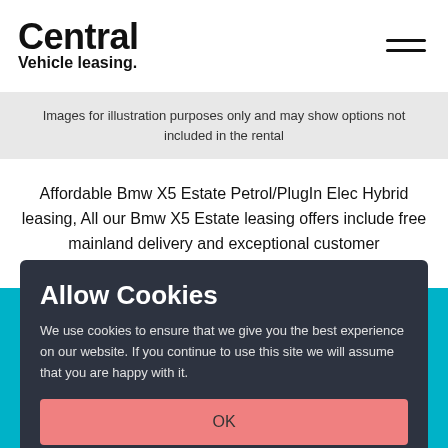[Figure (logo): Central Vehicle Leasing logo with stylized text and hamburger menu icon]
Images for illustration purposes only and may show options not included in the rental
Affordable Bmw X5 Estate Petrol/PlugIn Elec Hybrid leasing, All our Bmw X5 Estate leasing offers include free mainland delivery and exceptional customer
Allow Cookies
We use cookies to ensure that we give you the best experience on our website. If you continue to use this site we will assume that you are happy with it.
OK